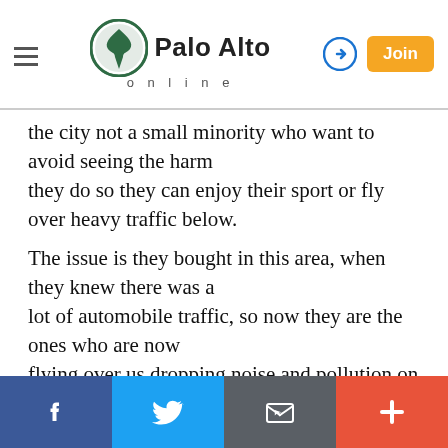Palo Alto online
the city not a small minority who want to avoid seeing the harm they do so they can enjoy their sport or fly over heavy traffic below.
The issue is they bought in this area, when they knew there was a lot of automobile traffic, so now they are the ones who are now flying over us dropping noise and pollution on their neighbors. Let's have some social responsibility here pilots!
Report Objectionable Content
Social share bar: Facebook, Twitter, Email, More